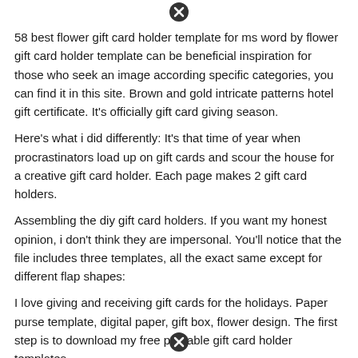[Figure (other): Close/X button icon — black circle with white X]
58 best flower gift card holder template for ms word by flower gift card holder template can be beneficial inspiration for those who seek an image according specific categories, you can find it in this site. Brown and gold intricate patterns hotel gift certificate. It’s officially gift card giving season.
Here’s what i did differently: It’s that time of year when procrastinators load up on gift cards and scour the house for a creative gift card holder. Each page makes 2 gift card holders.
Assembling the diy gift card holders. If you want my honest opinion, i don’t think they are impersonal. You’ll notice that the file includes three templates, all the exact same except for different flap shapes:
I love giving and receiving gift cards for the holidays. Paper purse template, digital paper, gift box, flower design. The first step is to download my free printable gift card holder templates.
[Figure (other): Close/X button icon — black circle with white X]